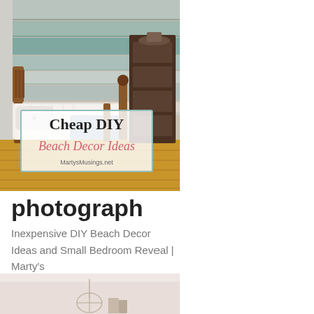[Figure (photo): Bedroom with beach-style wood plank wall (blue/teal/grey tones), two wooden beds with white bedding and a blue throw, wooden bookshelf, hardwood floors. Overlay text box reads 'Cheap DIY Beach Decor Ideas - MartysMusings.net']
photograph
Inexpensive DIY Beach Decor Ideas and Small Bedroom Reveal | Marty's
[Figure (photo): Partial view of a room with light pink/beige walls and what appears to be a decorative element or chandelier visible at top.]